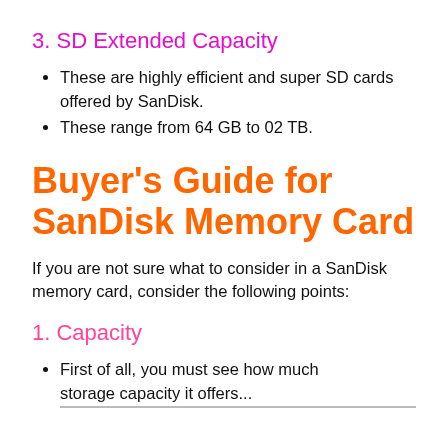3. SD Extended Capacity
These are highly efficient and super SD cards offered by SanDisk.
These range from 64 GB to 02 TB.
Buyer's Guide for SanDisk Memory Card
If you are not sure what to consider in a SanDisk memory card, consider the following points:
1. Capacity
First of all, you must see how much storage capacity it offers...